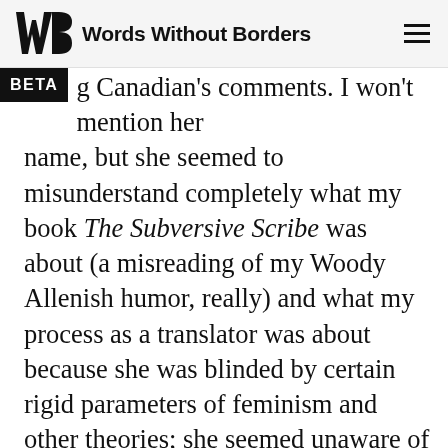Words Without Borders
g Canadian's comments. I won't mention her name, but she seemed to misunderstand completely what my book The Subversive Scribe was about (a misreading of my Woody Allenish humor, really) and what my process as a translator was about because she was blinded by certain rigid parameters of feminism and other theories; she seemed unaware of being imprisoned in a particular theoretical framework which she barely seemed to understand. I think there has to be an awareness that each text has its own rules and (as Borges would put it) "morphology" and you have to come from inside the text as well as your ideology or beliefs. If you